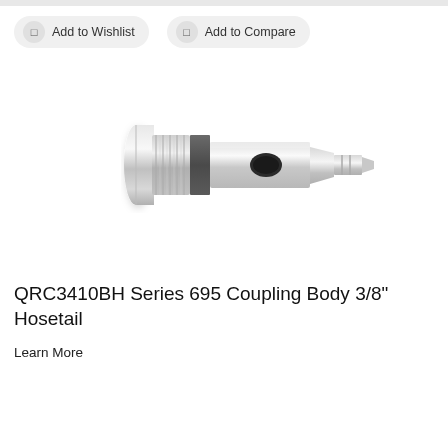Add to Wishlist   Add to Compare
[Figure (photo): QRC3410BH Series 695 Coupling Body 3/8 inch Hosetail - chrome/silver metal quick connect coupling with knurled collar and hose barb end]
QRC3410BH Series 695 Coupling Body 3/8" Hosetail
Learn More